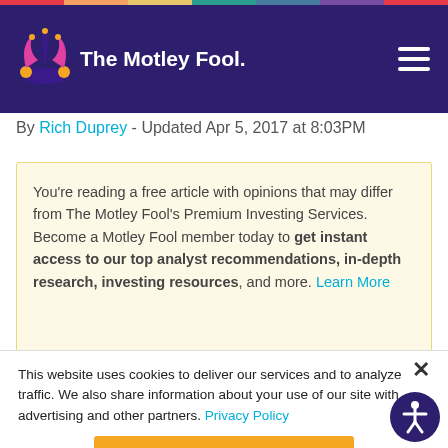The Motley Fool
By Rich Duprey - Updated Apr 5, 2017 at 8:03PM
You're reading a free article with opinions that may differ from The Motley Fool's Premium Investing Services. Become a Motley Fool member today to get instant access to our top analyst recommendations, in-depth research, investing resources, and more. Learn More
This website uses cookies to deliver our services and to analyze traffic. We also share information about your use of our site with advertising and other partners. Privacy Policy
Got it
Cookie Settings